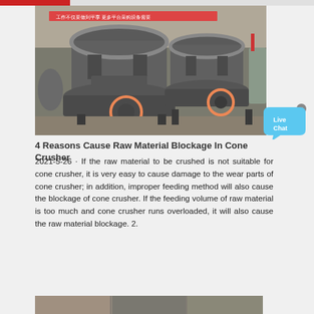[Figure (photo): Industrial cone crushers photographed in a factory setting. Two large grey cone crusher machines are shown side by side, each with orange/red circles highlighting specific parts near the base. Chinese text visible on a banner in the background.]
[Figure (other): Live Chat bubble icon in blue with white text 'Live Chat' and an X close button]
4 Reasons Cause Raw Material Blockage In Cone Crusher
2021-5-26 · If the raw material to be crushed is not suitable for cone crusher, it is very easy to cause damage to the wear parts of cone crusher; in addition, improper feeding method will also cause the blockage of cone crusher. If the feeding volume of raw material is too much and cone crusher runs overloaded, it will also cause the raw material blockage. 2.
[Figure (infographic): Contact bar with red left section containing envelope icon and dark background with white bold text 'MAKIPAG-UGNAYAN SA AMIN']
[Figure (photo): Bottom strip showing partial view of industrial machinery, continuation of the page content]